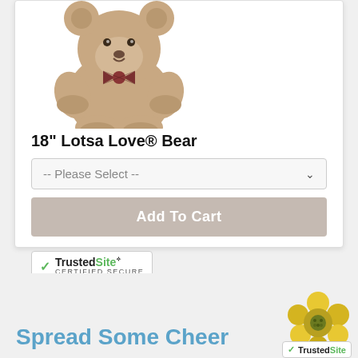[Figure (photo): Stuffed teddy bear with plaid bow tie, light brown, sitting upright]
18" Lotsa Love® Bear
-- Please Select --
Add To Cart
[Figure (logo): TrustedSite Certified Secure badge with green checkmark]
Spread Some Cheer
[Figure (photo): Yellow flower arrangement partially visible]
[Figure (logo): TrustedSite badge partially visible at bottom right]